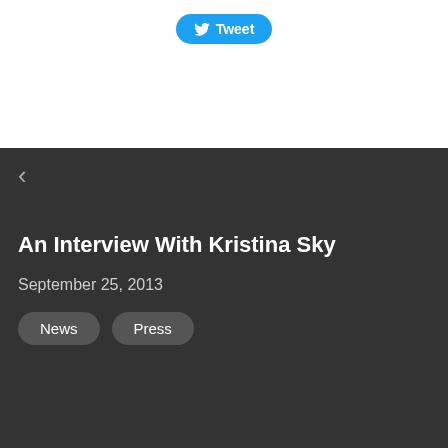[Figure (other): Twitter Tweet button with bird logo, blue rounded rectangle]
‹
An Interview With Kristina Sky
September 25, 2013
News
Press